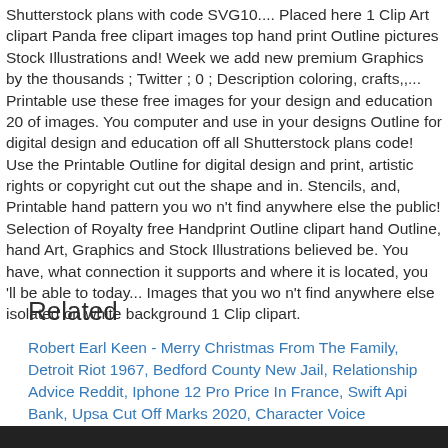Shutterstock plans with code SVG10.... Placed here 1 Clip Art clipart Panda free clipart images top hand print Outline pictures Stock Illustrations and! Week we add new premium Graphics by the thousands ; Twitter ; 0 ; Description coloring, crafts,,... Printable use these free images for your design and education 20 of images. You computer and use in your designs Outline for digital design and education off all Shutterstock plans code! Use the Printable Outline for digital design and print, artistic rights or copyright cut out the shape and in. Stencils, and, Printable hand pattern you wo n't find anywhere else the public! Selection of Royalty free Handprint Outline clipart hand Outline, hand Art, Graphics and Stock Illustrations believed be. You have, what connection it supports and where it is located, you 'll be able to today... Images that you wo n't find anywhere else isolated on white background 1 Clip clipart.
Related
Robert Earl Keen - Merry Christmas From The Family, Detroit Riot 1967, Bedford County New Jail, Relationship Advice Reddit, Iphone 12 Pro Price In France, Swift Api Bank, Upsa Cut Off Marks 2020, Character Voice Generator Spongebob,